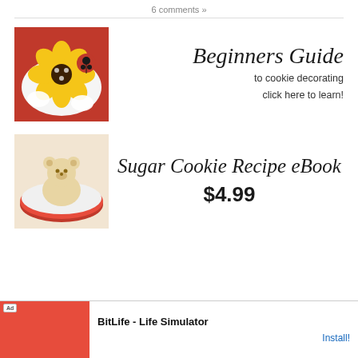6 comments »
[Figure (photo): Flower and ladybug shaped decorated cookies in yellow, white, black and red colors]
Beginners Guide to cookie decorating click here to learn!
[Figure (photo): Bear-shaped sugar cookies on a red and white plate]
Sugar Cookie Recipe eBook $4.99
[Figure (screenshot): Ad banner for BitLife - Life Simulator app with Install button]